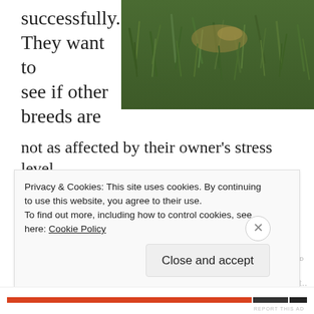successfully. They want to see if other breeds are not as affected by their owner's stress level.
[Figure (photo): Close-up photo of green grass]
[Figure (infographic): Automattic advertisement: AUT⊙MATTIC logo with tagline 'Build a better web and a better world.']
Privacy & Cookies: This site uses cookies. By continuing to use this website, you agree to their use. To find out more, including how to control cookies, see here: Cookie Policy
Close and accept